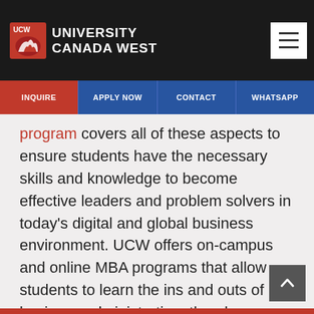UNIVERSITY CANADA WEST
program covers all of these aspects to ensure students have the necessary skills and knowledge to become effective leaders and problem solvers in today's digital and global business environment. UCW offers on-campus and online MBA programs that allow students to learn the ins and outs of business administration, thereby boosting their graduate employability.